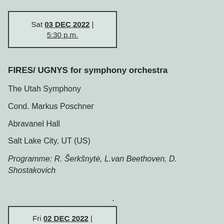Sat 03 DEC 2022 | 5:30 p.m.
FIRES/ UGNYS for symphony orchestra
The Utah Symphony
Cond. Markus Poschner
Abravanel Hall
Salt Lake City, UT (US)
Programme: R. Šerkšnytė, L.van Beethoven, D. Shostakovich
.
Fri 02 DEC 2022 |